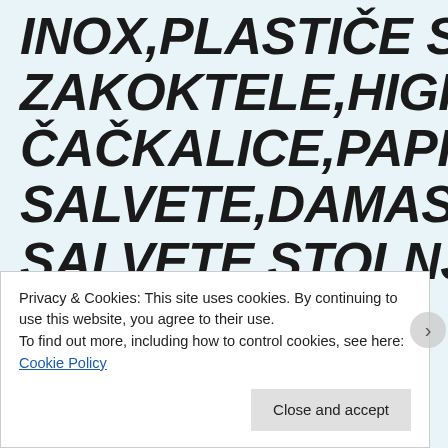INOX,PLASTIČE SLAMKE ZAKOKTELE,HIGIJENSKE ČAČKALICE,PAPIRNE SALVETE,DAMAST SALVETE,STOLNJACI,NADSTOLNJACI,...
RADNI STOLOVI I
Privacy & Cookies: This site uses cookies. By continuing to use this website, you agree to their use.
To find out more, including how to control cookies, see here: Cookie Policy
Close and accept